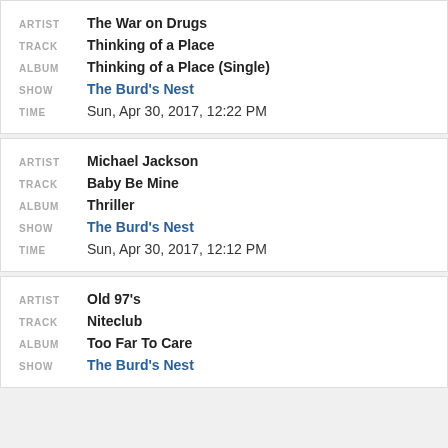ARTIST: The War on Drugs | TRACK: Thinking of a Place | ALBUM: Thinking of a Place (Single) | SHOW: The Burd's Nest | TIME: Sun, Apr 30, 2017, 12:22 PM
ARTIST: Michael Jackson | TRACK: Baby Be Mine | ALBUM: Thriller | SHOW: The Burd's Nest | TIME: Sun, Apr 30, 2017, 12:12 PM
ARTIST: Old 97's | TRACK: Niteclub | ALBUM: Too Far To Care | SHOW: The Burd's Nest